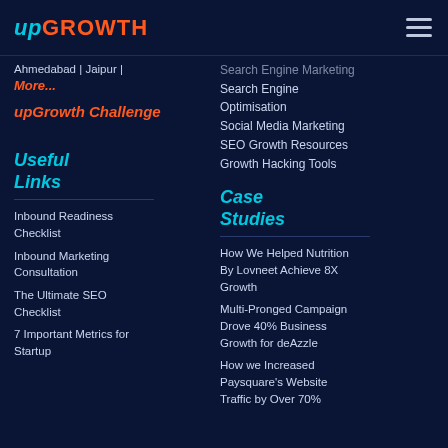upGROWTH (logo) | hamburger menu
Ahmedabad | Jaipur | More...
upGrowth Challenge
Search Engine Marketing
Search Engine Optimisation
Social Media Marketing
SEO Growth Resources
Growth Hacking Tools
Useful Links
Case Studies
Inbound Readiness Checklist
Inbound Marketing Consultation
The Ultimate SEO Checklist
7 Important Metrics for Startup
How We Helped Nutrition By Lovneet Achieve 8X Growth
Multi-Pronged Campaign Drove 40% Business Growth for deAzzle
How we Increased Paysquare's Website Traffic by Over 70%